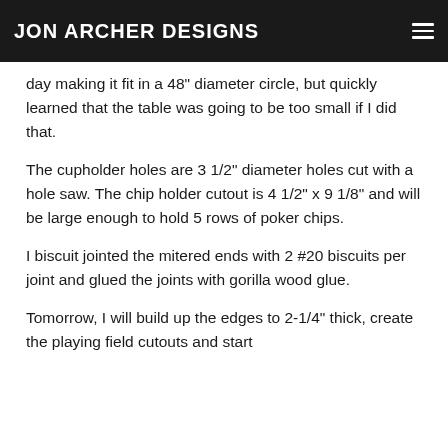JON ARCHER DESIGNS
outside. The dimension on each side is 19-7/8". That makes a poker table that is 48" across. I started the day making it fit in a 48" diameter circle, but quickly learned that the table was going to be too small if I did that.
The cupholder holes are 3 1/2" diameter holes cut with a hole saw. The chip holder cutout is 4 1/2" x 9 1/8" and will be large enough to hold 5 rows of poker chips.
I biscuit jointed the mitered ends with 2 #20 biscuits per joint and glued the joints with gorilla wood glue.
Tomorrow, I will build up the edges to 2-1/4" thick, create the playing field cutouts and start